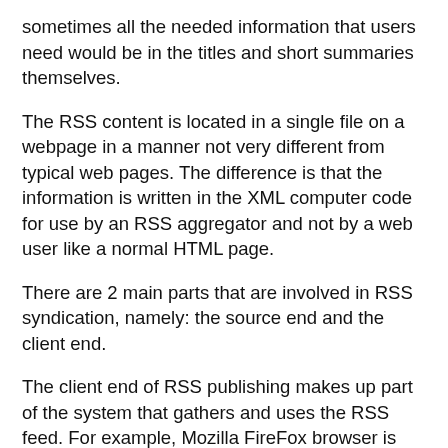sometimes all the needed information that users need would be in the titles and short summaries themselves.
The RSS content is located in a single file on a webpage in a manner not very different from typical web pages. The difference is that the information is written in the XML computer code for use by an RSS aggregator and not by a web user like a normal HTML page.
There are 2 main parts that are involved in RSS syndication, namely: the source end and the client end.
The client end of RSS publishing makes up part of the system that gathers and uses the RSS feed. For example, Mozilla FireFox browser is typically at the client end of the RSS transaction.